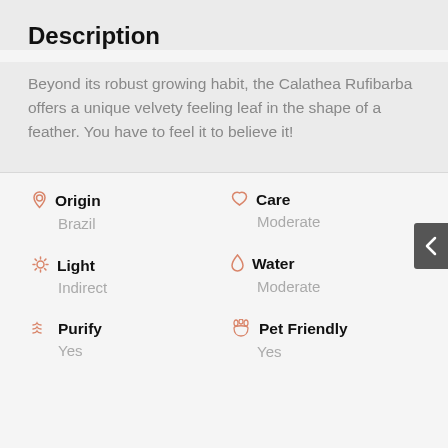Description
Beyond its robust growing habit, the Calathea Rufibarba offers a unique velvety feeling leaf in the shape of a feather. You have to feel it to believe it!
Origin — Brazil
Care — Moderate
Light — Indirect
Water — Moderate
Purify — Yes
Pet Friendly — Yes